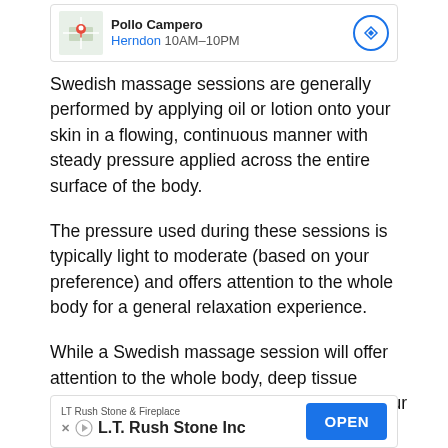[Figure (screenshot): Top advertisement banner for Pollo Campero showing a map thumbnail, business name, location (Herndon 10AM-10PM), and a directions icon button.]
Swedish massage sessions are generally performed by applying oil or lotion onto your skin in a flowing, continuous manner with steady pressure applied across the entire surface of the body.
The pressure used during these sessions is typically light to moderate (based on your preference) and offers attention to the whole body for a general relaxation experience.
While a Swedish massage session will offer attention to the whole body, deep tissue massage sessions tend to focus more on your
[Figure (screenshot): Bottom advertisement banner for LT Rush Stone & Fireplace / L.T. Rush Stone Inc with an OPEN button.]